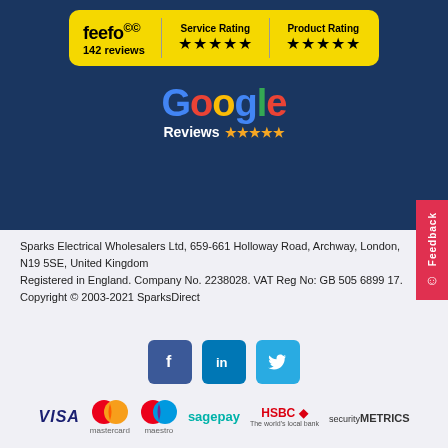[Figure (logo): Feefo badge showing 5-star Service Rating and Product Rating with 142 reviews on yellow background]
[Figure (logo): Google Reviews logo with 5 gold stars on dark navy background]
Sparks Electrical Wholesalers Ltd, 659-661 Holloway Road, Archway, London, N19 5SE, United Kingdom
Registered in England. Company No. 2238028. VAT Reg No: GB 505 6899 17.
Copyright © 2003-2021 SparksDirect
[Figure (logo): Social media icons: Facebook, LinkedIn, Twitter]
[Figure (logo): Payment logos: VISA, Mastercard, Maestro, Sage Pay, HSBC, SecurityMetrics]